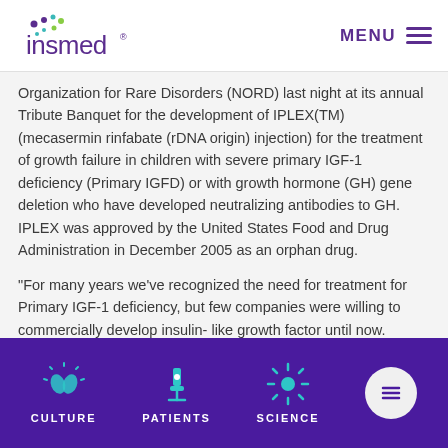insmed MENU
Organization for Rare Disorders (NORD) last night at its annual Tribute Banquet for the development of IPLEX(TM) (mecasermin rinfabate (rDNA origin) injection) for the treatment of growth failure in children with severe primary IGF-1 deficiency (Primary IGFD) or with growth hormone (GH) gene deletion who have developed neutralizing antibodies to GH. IPLEX was approved by the United States Food and Drug Administration in December 2005 as an orphan drug.
"For many years we've recognized the need for treatment for Primary IGF-1 deficiency, but few companies were willing to commercially develop insulin- like growth factor until now. IPLEX(TM) is a significant medical advancement worthy of recognition
CULTURE  PATIENTS  SCIENCE